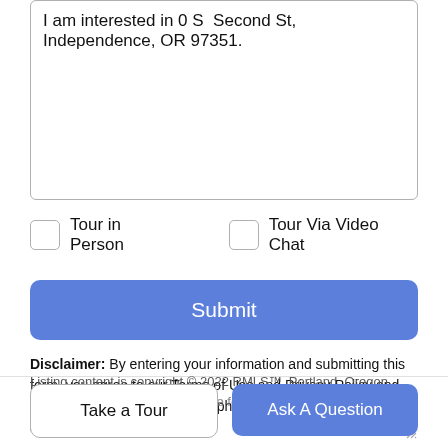I am interested in 0 S  Second St, Independence, OR 97351.
Tour in Person
Tour Via Video Chat
Submit
Disclaimer: By entering your information and submitting this form, you agree to our Terms of Use and Privacy Policy and that you may be contacted by phone, text message and email about your inquiry.
Listing content is copyright © 2022 RMLS™, Portland, Oregon. The content relating to real estate for sale on this web site comes
Take a Tour
Ask A Question